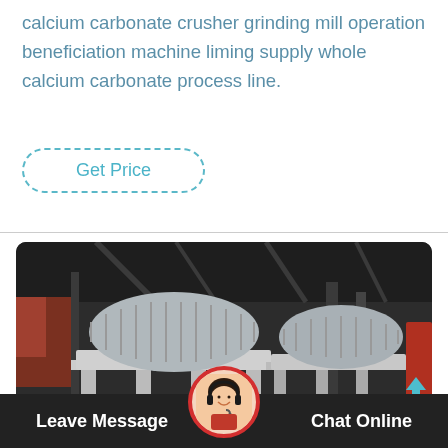calcium carbonate crusher grinding mill operation beneficiation machine liming supply whole calcium carbonate process line.
[Figure (other): Button with dashed teal border labeled 'Get Price']
[Figure (photo): Industrial beneficiation machines (drum/cylinder separators) in a factory warehouse setting, mounted on white metal frames.]
Leave Message   Chat Online